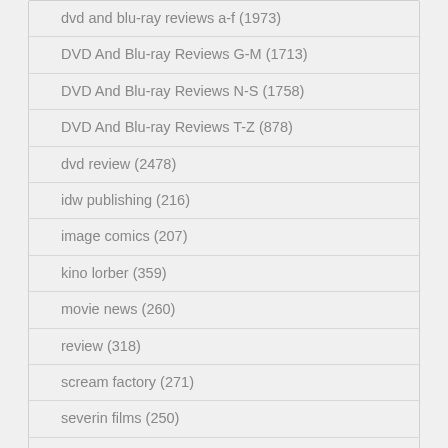dvd and blu-ray reviews a-f (1973)
DVD And Blu-ray Reviews G-M (1713)
DVD And Blu-ray Reviews N-S (1758)
DVD And Blu-ray Reviews T-Z (878)
dvd review (2478)
idw publishing (216)
image comics (207)
kino lorber (359)
movie news (260)
review (318)
scream factory (271)
severin films (250)
shout! factory (515)
twilight time (269)
twilight time releasing (230)
vinegar syndrome (430)
Latest Articles
Massacre At Central High (Synapse Films) Blu-ray Review